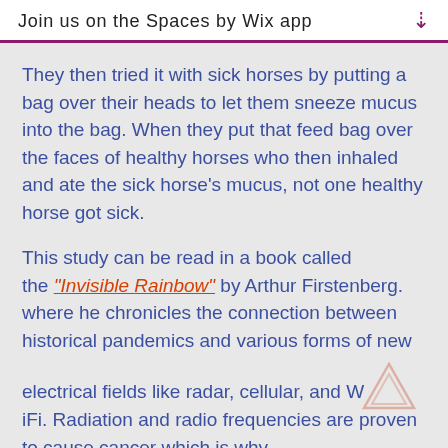Join us on the Spaces by Wix app
They then tried it with sick horses by putting a bag over their heads to let them sneeze mucus into the bag. When they put that feed bag over the faces of healthy horses who then inhaled and ate the sick horse's mucus, not one healthy horse got sick.
This study can be read in a book called the "Invisible Rainbow" by Arthur Firstenberg. where he chronicles the connection between historical pandemics and various forms of new electrical fields like radar, cellular, and WiFi. Radiation and radio frequencies are proven to cause cancer which is why